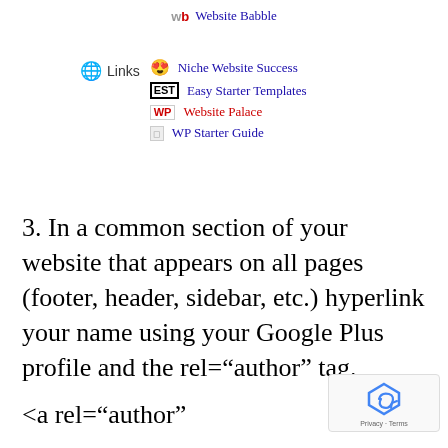wb Website Babble
Links - Niche Website Success, Easy Starter Templates, Website Palace, WP Starter Guide
3. In a common section of your website that appears on all pages (footer, header, sidebar, etc.) hyperlink your name using your Google Plus profile and the rel="author" tag.
<a rel="author"